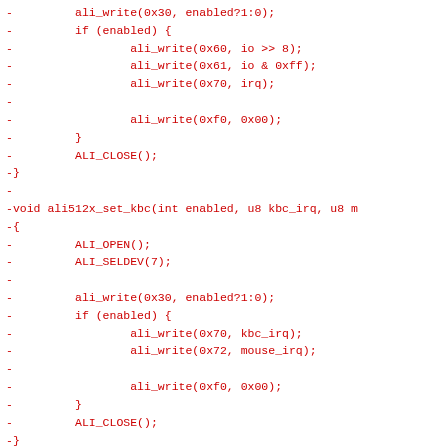- 		ali_write(0x30, enabled?1:0);
-         if (enabled) {
-                 ali_write(0x60, io >> 8);
-                 ali_write(0x61, io & 0xff);
-                 ali_write(0x70, irq);
-
-                 ali_write(0xf0, 0x00);
-         }
-         ALI_CLOSE();
-}
-
-void ali512x_set_kbc(int enabled, u8 kbc_irq, u8 m
-{
-         ALI_OPEN();
-         ALI_SELDEV(7);
-
-         ali_write(0x30, enabled?1:0);
-         if (enabled) {
-                 ali_write(0x70, kbc_irq);
-                 ali_write(0x72, mouse_irq);
-
-                 ali_write(0xf0, 0x00);
-         }
-         ALI_CLOSE();
-}
-
-
-/* Common I/O
- *
- * (This descrimptcion is base on several incompl